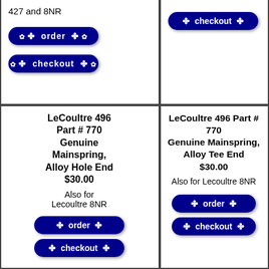427 and 8NR
[Figure (other): Order button (dark blue rounded rectangle)]
[Figure (other): Checkout button (dark blue rounded rectangle)]
[Figure (other): Checkout button (dark blue rounded rectangle) - column 2]
Quantity 1 - 2
Price $20.0
[Figure (other): Checkout button (dark blue rounded rectangle) - column 3]
LeCoultre 496 Part # 770 Genuine Mainspring, Alloy Hole End $30.00
Also for Lecoultre 8NR
[Figure (other): Order button - row 2 col 1]
[Figure (other): Checkout button - row 2 col 1]
LeCoultre 496 Part # 770 Genuine Mainspring, Alloy Tee End $30.00
Also for Lecoultre 8NR
[Figure (other): Order button - row 2 col 2]
[Figure (other): Checkout button - row 2 col 2]
[Figure (photo): Gold gear/crown wheel part with engraving, labeled OL]
LeCoultre 496 B Backwind Yell Crown $126.0